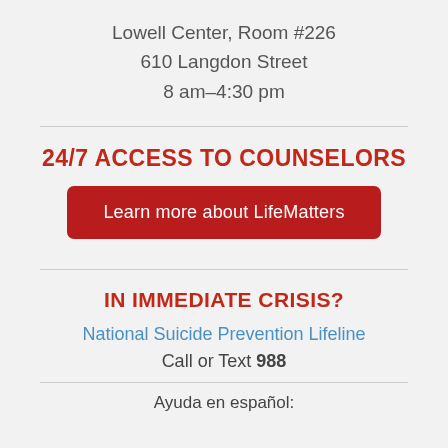Lowell Center, Room #226
610 Langdon Street
8 am–4:30 pm
24/7 ACCESS TO COUNSELORS
Learn more about LifeMatters
IN IMMEDIATE CRISIS?
National Suicide Prevention Lifeline
Call or Text 988
Ayuda en español: